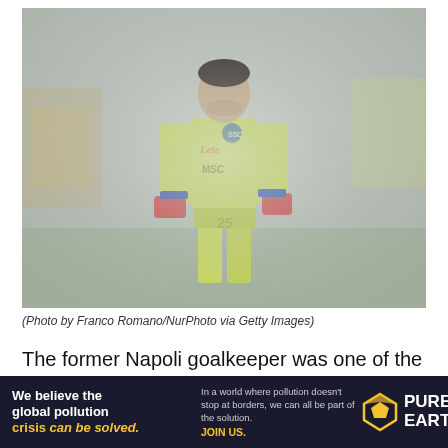[Figure (photo): A goalkeeper wearing a yellow-green Napoli kit with 'MSC' sponsor and number 25, standing on a football pitch with blurred crowd in background. Shot in misty/overcast conditions.]
(Photo by Franco Romano/NurPhoto via Getty Images)
The former Napoli goalkeeper was one of the most solid and competent shot-stoppers in the Serie A.
[Figure (infographic): Pure Earth advertisement banner. Left text: 'We believe the global pollution crisis can be solved.' Middle text: 'In a world where pollution doesn't stop at borders, we can all be part of the solution. JOIN US.' Right: Pure Earth logo with diamond/arrow icon.]